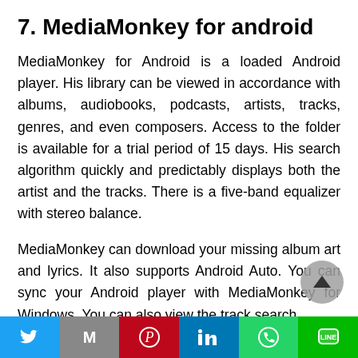7. MediaMonkey for android
MediaMonkey for Android is a loaded Android player. His library can be viewed in accordance with albums, audiobooks, podcasts, artists, tracks, genres, and even composers. Access to the folder is available for a trial period of 15 days. His search algorithm quickly and predictably displays both the artist and the tracks. There is a five-band equalizer with stereo balance.
MediaMonkey can download your missing album art and lyrics. It also supports Android Auto. You can sync your Android player with MediaMonkey for Windows. You can also view the track search…